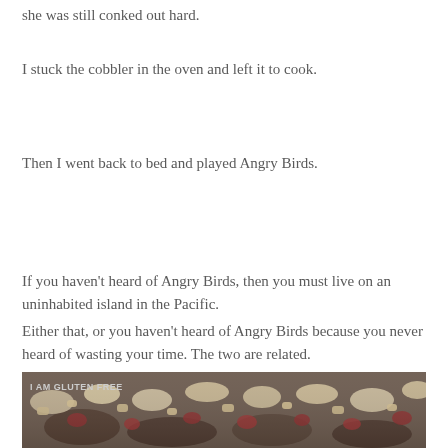she was still conked out hard.
I stuck the cobbler in the oven and left it to cook.
Then I went back to bed and played Angry Birds.
If you haven't heard of Angry Birds, then you must live on an uninhabited island in the Pacific.
Either that, or you haven't heard of Angry Birds because you never heard of wasting your time. The two are related.
[Figure (photo): Close-up photo of a baked fruit cobbler with crumbly topping, showing pieces of apple or rhubarb mixed into the golden-brown crust. Watermark reads 'I AM GLUTEN FREE' in the upper left corner.]